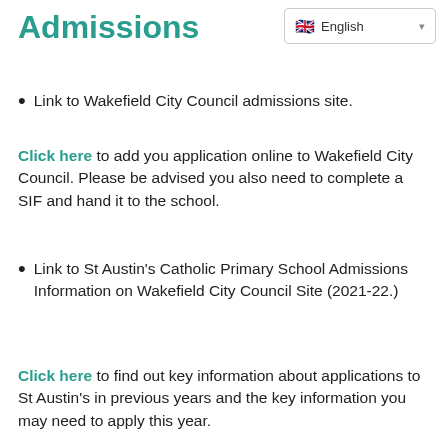Admissions
English (language selector)
Link to Wakefield City Council admissions site.
Click here to add you application online to Wakefield City Council. Please be advised you also need to complete a SIF and hand it to the school.
Link to St Austin's Catholic Primary School Admissions Information on Wakefield City Council Site (2021-22.)
Click here to find out key information about applications to St Austin's in previous years and the key information you may need to apply this year.